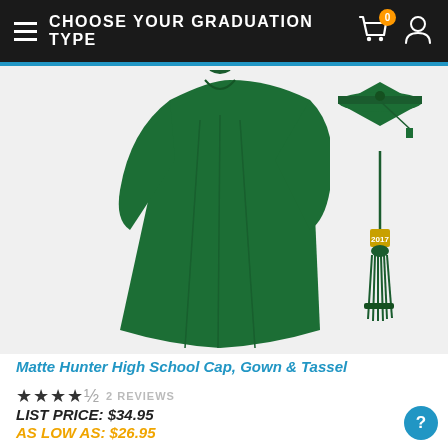CHOOSE YOUR GRADUATION TYPE
[Figure (photo): Matte hunter green graduation gown full length view, plus cap and tassel thumbnails on the right]
Matte Hunter High School Cap, Gown & Tassel
★★★★½ 2 REVIEWS
LIST PRICE: $34.95
AS LOW AS: $26.95